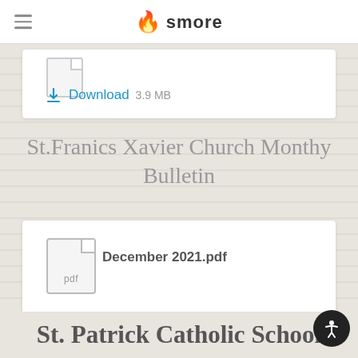smore
Download  3.9 MB
St.Franics Xavier Church Monthy Bulletin
December 2021.pdf
Download  2.2 MB
St. Patrick Catholic School